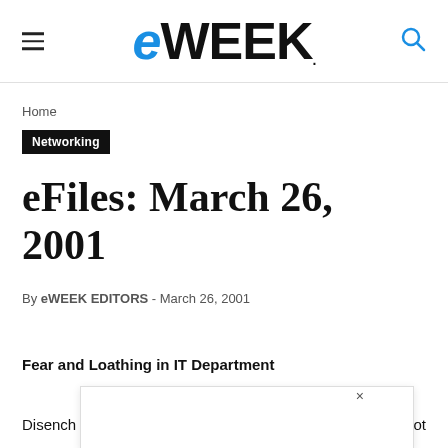eWEEK
Home
Networking
eFiles: March 26, 2001
By eWEEK EDITORS - March 26, 2001
Fear and Loathing in IT Department
Disench... ot